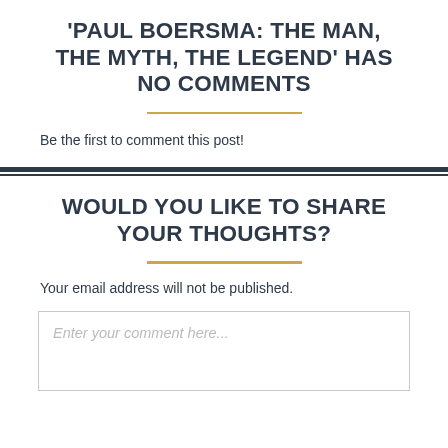'PAUL BOERSMA: THE MAN, THE MYTH, THE LEGEND' HAS NO COMMENTS
Be the first to comment this post!
WOULD YOU LIKE TO SHARE YOUR THOUGHTS?
Your email address will not be published.
Enter your comment here...